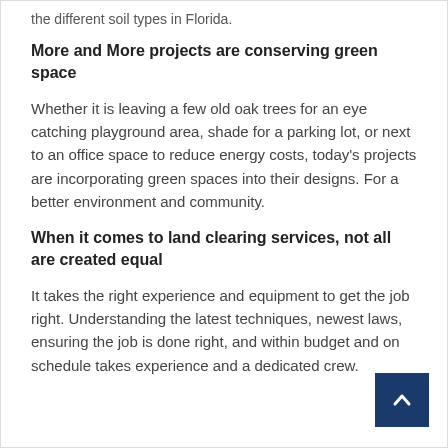the different soil types in Florida.
More and More projects are conserving green space
Whether it is leaving a few old oak trees for an eye catching playground area, shade for a parking lot, or next to an office space to reduce energy costs, today's projects are incorporating green spaces into their designs. For a better environment and community.
When it comes to land clearing services, not all are created equal
It takes the right experience and equipment to get the job right. Understanding the latest techniques, newest laws, ensuring the job is done right, and within budget and on schedule takes experience and a dedicated crew.